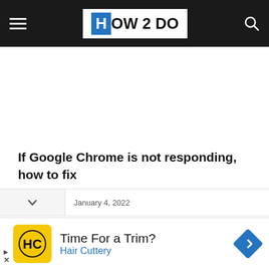HOW 2 DO
If Google Chrome is not responding, how to fix
January 4, 2022
[Figure (logo): Advertisement banner: Time For a Trim? Hair Cuttery with yellow HC logo and blue diamond arrow icon]